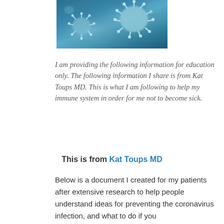[Figure (photo): Close-up photo of coronavirus particles on a dark teal/blue background, showing spiky virus structures.]
I am providing the following information for education only. The following information I share is from Kat Toups MD. This is what I am following to help my immune system in order for me not to become sick.
This is from Kat Toups MD
Below is a document I created for my patients after extensive research to help people understand ideas for preventing the coronavirus infection, and what to do if you